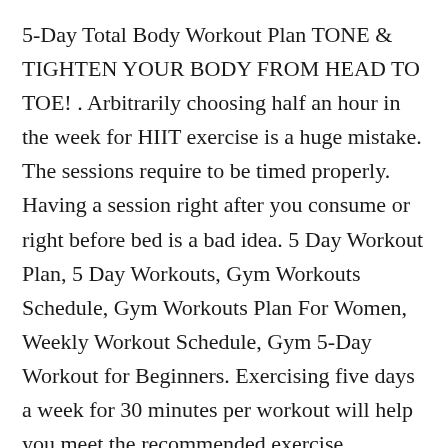5-Day Total Body Workout Plan TONE & TIGHTEN YOUR BODY FROM HEAD TO TOE! . Arbitrarily choosing half an hour in the week for HIIT exercise is a huge mistake. The sessions require to be timed properly. Having a session right after you consume or right before bed is a bad idea. 5 Day Workout Plan, 5 Day Workouts, Gym Workouts Schedule, Gym Workouts Plan For Women, Weekly Workout Schedule, Gym 5-Day Workout for Beginners. Exercising five days a week for 30 minutes per workout will help you meet the recommended exercise guidelines of organizations such as the American Heart Association and American College of Sports Medicine. Beginners should start slower, working to...